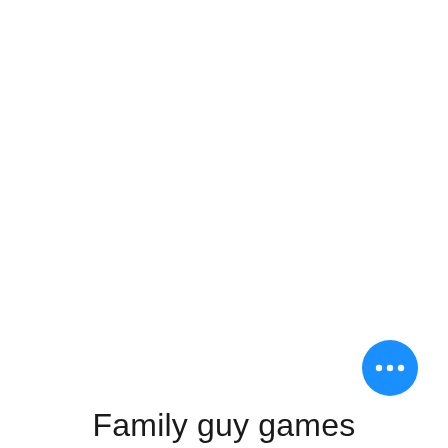[Figure (other): Blue circular FAB (floating action button) with three white horizontal dots (ellipsis icon) in the center, positioned bottom-right]
Family guy games